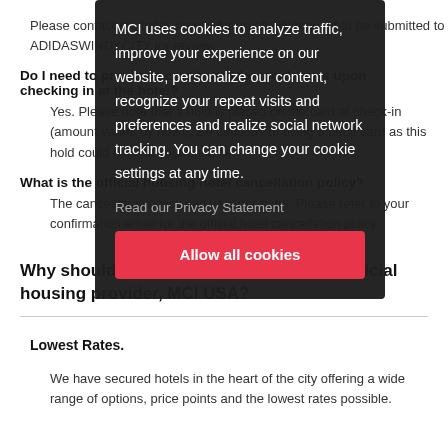Please contact the hotel directly for an official request to be submitted to ADIDASWINDYCITY for review.
Do I need to provide a credit card for incidentals upon checking in at the hotel?
Yes. Please note that a hold is placed on the card at check-in (amount varies by hotel). Be cautious of using a debit card as this hold could exceed your balance.
What is the official housing hotel cancellation policy?
The cancellation policy can vary per hotel. Please refer to your confirmation email for the official hotel cancellation policy.
Why should I use ADIDASWINDYCITY's official housing provider, MCI USA?
Lowest Rates.
We have secured hotels in the heart of the city offering a wide range of options, price points and the lowest rates possible.
MCI uses cookies to analyze traffic, improve your experience on our website, personalize our content, recognize your repeat visits and preferences and realize social network tracking. You can change your cookie settings at any time.
Read our Privacy Statement
Allow all cookies